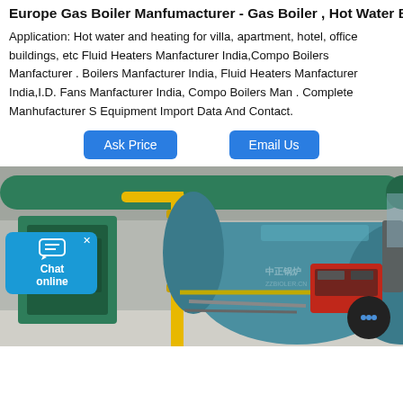Europe Gas Boiler Manfumacturer - Gas Boiler , Hot Water Boiler
Application: Hot water and heating for villa, apartment, hotel, office buildings, etc Fluid Heaters Manfacturer India,Compo Boilers Manfacturer . Boilers Manfacturer India, Fluid Heaters Manfacturer India,I.D. Fans Manfacturer India, Compo Boilers Man . Complete Manhufacturer S Equipment Import Data And Contact.
Ask Price   Email Us
[Figure (photo): Industrial gas boiler installation showing a large cylindrical blue/teal boiler with green pipes overhead, yellow gas pipe, red burner unit, and associated equipment in an industrial facility. A chat widget and online chat bubble are visible in the lower-left corner.]